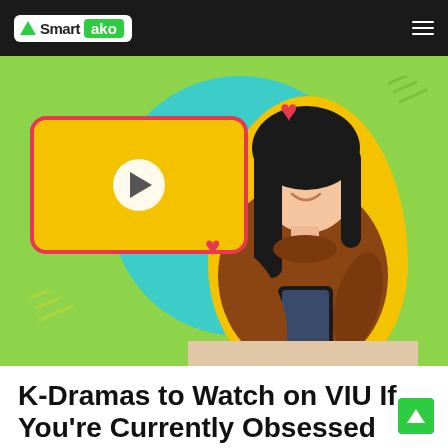[Figure (logo): Smart ako logo — white box with green triangle and 'Smart' text, and green 'ako' badge; dark navbar with hamburger menu icon on the right]
[Figure (illustration): Hero banner with bright green background, teal circle, yellow video player card with play button, pink/red hearts, decorative yellow dashes, and a smiling young Asian woman in brown sweater sitting at a desk using a smartphone, with a coffee cup and plant nearby. Yellow blob outline around the person.]
K-Dramas to Watch on VIU If You're Currently Obsessed